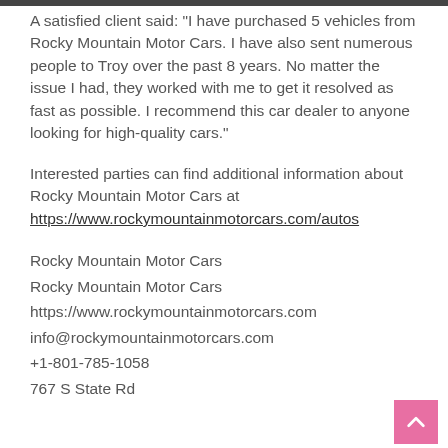A satisfied client said: "I have purchased 5 vehicles from Rocky Mountain Motor Cars. I have also sent numerous people to Troy over the past 8 years. No matter the issue I had, they worked with me to get it resolved as fast as possible. I recommend this car dealer to anyone looking for high-quality cars."
Interested parties can find additional information about Rocky Mountain Motor Cars at https://www.rockymountainmotorcars.com/autos
Rocky Mountain Motor Cars
Rocky Mountain Motor Cars
https://www.rockymountainmotorcars.com
info@rockymountainmotorcars.com
+1-801-785-1058
767 S State Rd